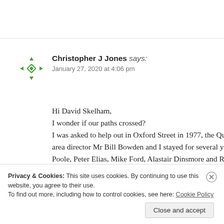[Figure (logo): Green geometric avatar icon for Christopher J Jones]
Christopher J Jones says:
January 27, 2020 at 4:06 pm
Hi David Skelham,
I wonder if our paths crossed?
I was asked to help out in Oxford Street in 1977, the Qu
area director Mr Bill Bowden and I stayed for several y
Poole, Peter Elias, Mike Ford, Alastair Dinsmore and R
Privacy & Cookies: This site uses cookies. By continuing to use this website, you agree to their use.
To find out more, including how to control cookies, see here: Cookie Policy
Close and accept